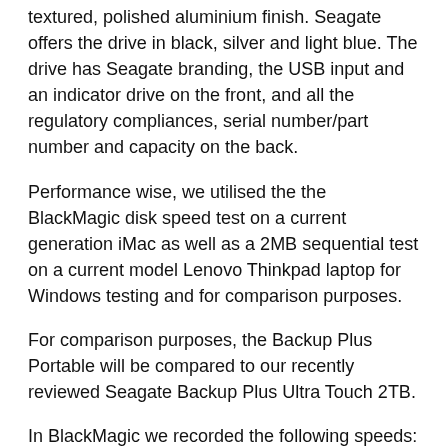textured, polished aluminium finish. Seagate offers the drive in black, silver and light blue. The drive has Seagate branding, the USB input and an indicator drive on the front, and all the regulatory compliances, serial number/part number and capacity on the back.
Performance wise, we utilised the the BlackMagic disk speed test on a current generation iMac as well as a 2MB sequential test on a current model Lenovo Thinkpad laptop for Windows testing and for comparison purposes.
For comparison purposes, the Backup Plus Portable will be compared to our recently reviewed Seagate Backup Plus Ultra Touch 2TB.
In BlackMagic we recorded the following speeds:
Mac
Backup Plus Portable: 140.1MB/s read and 139.7MB/s write
Backup Plus Ultra Touch: 125.3MB/s read and